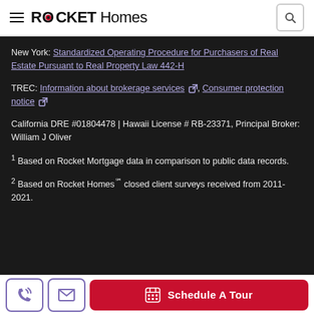ROCKET Homes
New York: Standardized Operating Procedure for Purchasers of Real Estate Pursuant to Real Property Law 442-H
TREC: Information about brokerage services, Consumer protection notice
California DRE #01804478 | Hawaii License # RB-23371, Principal Broker: William J Oliver
1 Based on Rocket Mortgage data in comparison to public data records.
2 Based on Rocket Homes℠ closed client surveys received from 2011-2021.